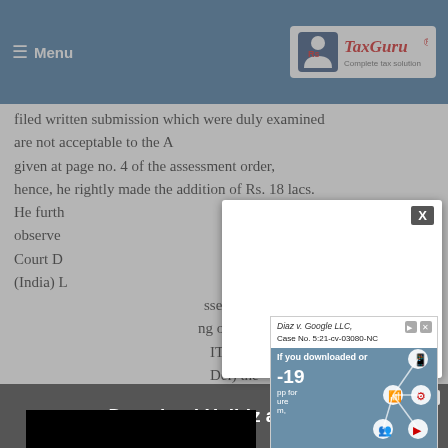Menu | TaxGuru - Complete tax solution
filed written submission which were duly examined are not acceptable to the A given at page no. 4 of the assessment order, hence, he rightly made the addition of Rs. 18 lacs. He further observed that he rightly observed that the Apex Court D driveshafts (India) L AO did ssessee ng order. ITO vs. Del) the asons is not fata the Apex Court in S. Narayanappa vs. CIT (1967) 36 ITR 219 (SC). He further stated that this case rendered by a Ber the noti KN
[Figure (screenshot): Advertisement popup: Diaz v. Google LLC Case No. 5:21-cv-03080-NC with mobile app icons on blue background]
[Figure (screenshot): Black video player area with white spinner/loading indicator]
[Figure (screenshot): Bottom banner ad: Download Helbiz and ride, with close button]